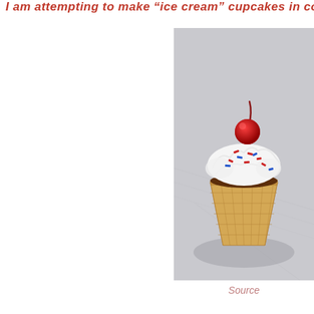I am attempting to make "ice cream" cupcakes in cones fo
[Figure (photo): A cupcake baked inside a waffle ice cream cone, topped with white whipped frosting, red and blue sprinkles, and a bright red maraschino cherry on top. The cone casts a shadow on a light gray surface.]
Source